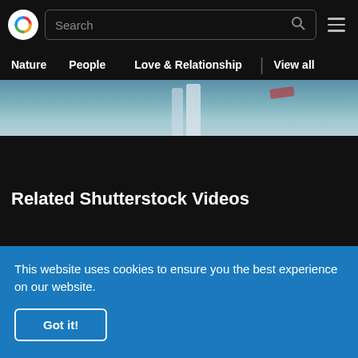[Figure (screenshot): Shutterstock website header with logo, search bar, hamburger menu]
Nature   People   Love & Relationship   | View all
[Figure (photo): Blurred hero image showing a person in blue/white tones]
Related Shutterstock Videos
[Figure (photo): Video thumbnail showing sandy/rocky terrain with sunlight]
This website uses cookies to ensure you the best experience on our website.
Got it!